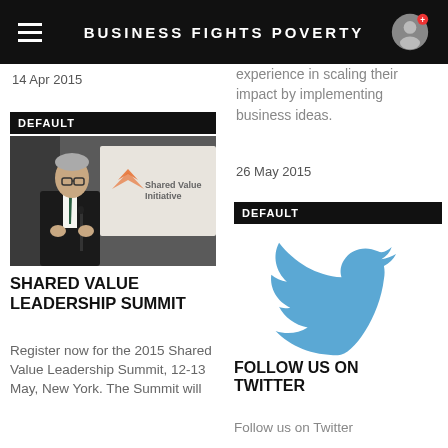BUSINESS FIGHTS POVERTY
14 Apr 2015
[Figure (photo): Man in dark suit speaking at a podium with Shared Value Initiative branding visible in background]
SHARED VALUE LEADERSHIP SUMMIT
Register now for the 2015 Shared Value Leadership Summit, 12-13 May, New York. The Summit will
experience in scaling their impact by implementing business ideas.
26 May 2015
DEFAULT
[Figure (logo): Twitter bird logo in blue]
FOLLOW US ON TWITTER
Follow us on Twitter